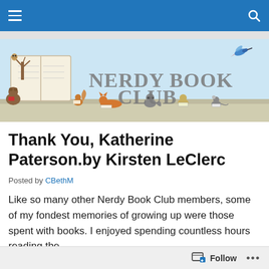Navigation bar with hamburger menu and search icon
[Figure (illustration): Nerdy Book Club banner illustration featuring cartoon animals (bear, squirrel, rabbit, raccoon, cat, rat) reading books around a large open book with a tree, and the text NERDY BOOK CLUB in large gray letters. A small hummingbird is in the upper right.]
Thank You, Katherine Paterson.by Kirsten LeClerc
Posted by CBethM
Like so many other Nerdy Book Club members, some of my fondest memories of growing up were those spent with books. I enjoyed spending countless hours reading the